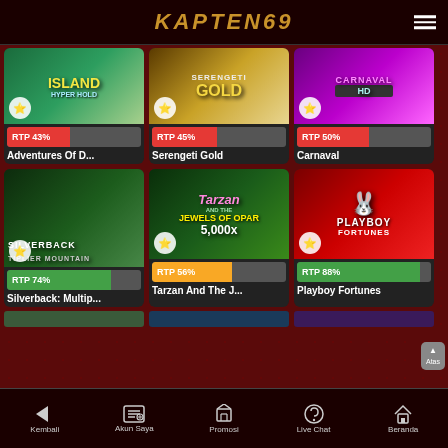KAPTEN69
[Figure (screenshot): Game card: Adventures Of D... with RTP 43% bar]
[Figure (screenshot): Game card: Serengeti Gold with RTP 45% bar]
[Figure (screenshot): Game card: Carnaval with RTP 50% bar]
[Figure (screenshot): Game card: Silverback: Multip... with RTP 74% bar]
[Figure (screenshot): Game card: Tarzan And The J... with RTP 56% bar]
[Figure (screenshot): Game card: Playboy Fortunes with RTP 88% bar]
Kembali | Akun Saya | Promosi | Live Chat | Beranda